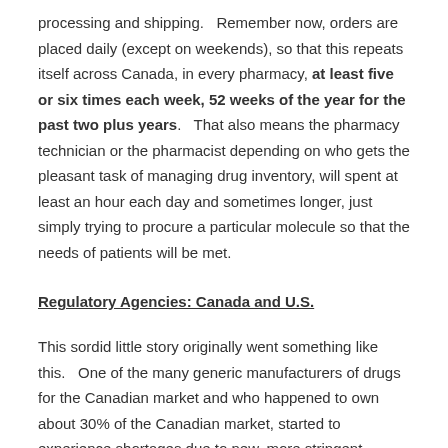processing and shipping.   Remember now, orders are placed daily (except on weekends), so that this repeats itself across Canada, in every pharmacy, at least five or six times each week, 52 weeks of the year for the past two plus years.    That also means the pharmacy technician or the pharmacist depending on who gets the pleasant task of managing drug inventory, will spent at least an hour each day and sometimes longer, just simply trying to procure a particular molecule so that the needs of patients will be met.
Regulatory Agencies: Canada and U.S.
This sordid little story originally went something like this.   One of the many generic manufacturers of drugs for the Canadian market and who happened to own about 30% of the Canadian market, started to experience shortages due to new, more stringent regulations  introduced by the American Food and Drug Administration (FDA) and to a lesser degree, the Canadian equivalent, Health Protection Board of Canada (HPB), a division of Health Canada.   Although most companies (not all) manufacture their product in either the U.S. or Canada for marketing in